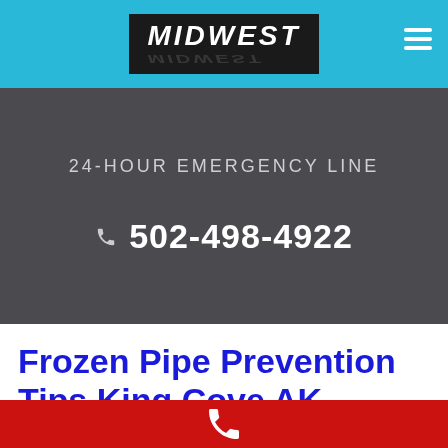MIDWEST
24-HOUR EMERGENCY LINE
✆ 502-498-4922
Frozen Pipe Prevention Tips King Cove AK
[Figure (logo): Red call bar with white phone handset icon at bottom of page]